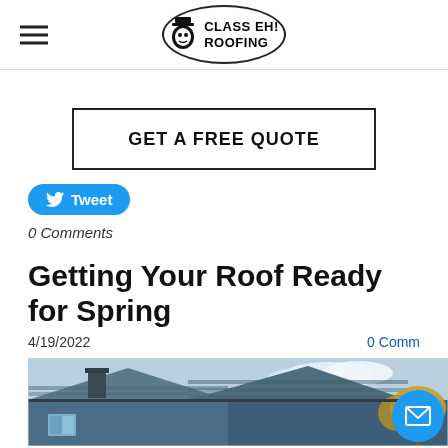CLASS EH! ROOFING
[Figure (logo): Class Eh! Roofing oval logo with top hat mascot icon and text CLASS EH! ROOFING]
[Figure (infographic): GET A FREE QUOTE button with bold black border]
[Figure (infographic): Twitter Tweet button in blue rounded rectangle with bird icon]
0 Comments
Getting Your Roof Ready for Spring
4/19/2022
0 Comm
[Figure (photo): Photo of blue house rooftop with grey shingles, chimney, and autumn trees in background]